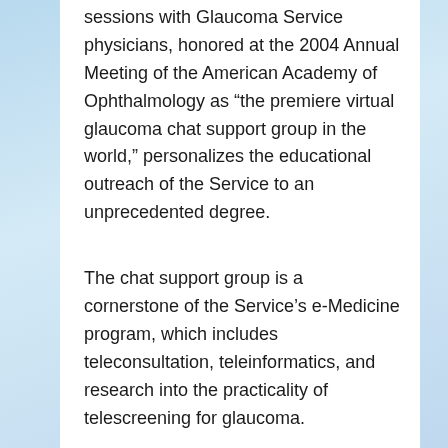sessions with Glaucoma Service physicians, honored at the 2004 Annual Meeting of the American Academy of Ophthalmology as “the premiere virtual glaucoma chat support group in the world,” personalizes the educational outreach of the Service to an unprecedented degree.
The chat support group is a cornerstone of the Service’s e-Medicine program, which includes teleconsultation, teleinformatics, and research into the practicality of telescreening for glaucoma.
Understanding Intraocular Pressure